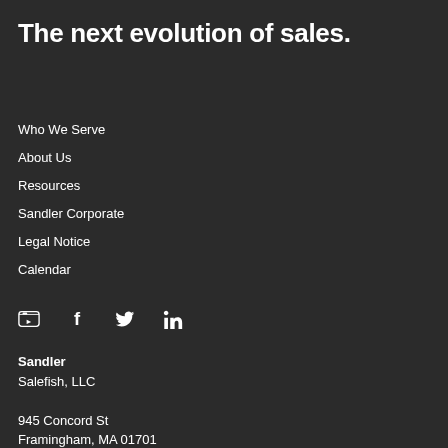The next evolution of sales.
Who We Serve
About Us
Resources
Sandler Corporate
Legal Notice
Calendar
[Figure (other): Social media icons: YouTube, Facebook, Twitter, LinkedIn]
Sandler
Salefish, LLC

945 Concord St
Framingham, MA 01701
United States